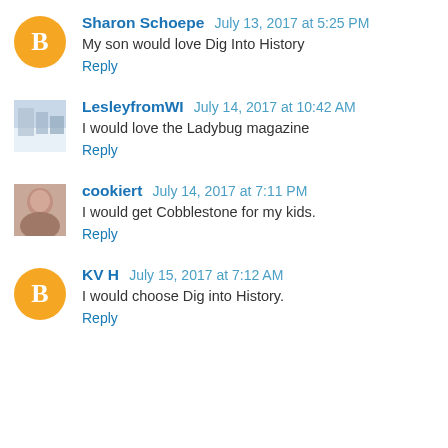Sharon Schoepe  July 13, 2017 at 5:25 PM
My son would love Dig Into History
Reply
LesleyfromWI  July 14, 2017 at 10:42 AM
I would love the Ladybug magazine
Reply
cookiert  July 14, 2017 at 7:11 PM
I would get Cobblestone for my kids.
Reply
KV H  July 15, 2017 at 7:12 AM
I would choose Dig into History.
Reply